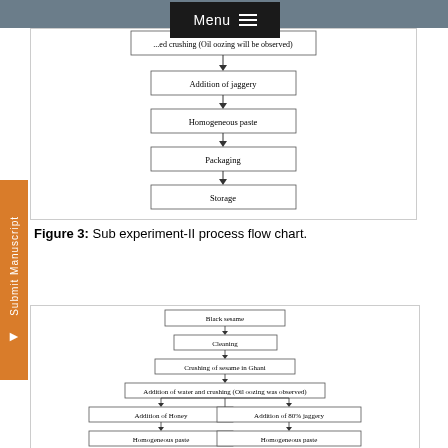[Figure (flowchart): Top portion of Sub experiment-I process flow chart showing: Addition of jaggery → Homogeneous paste → Packaging → Storage]
Figure 3: Sub experiment-II process flow chart.
[Figure (flowchart): Sub experiment-II process flow chart showing: Black sesame → Cleaning → Crushing of sesame in Ghani → Addition of water and crushing (Oil oozing was observed) → [Addition of Honey → Homogeneous paste] and [Addition of 80% jaggery → Homogeneous paste]]